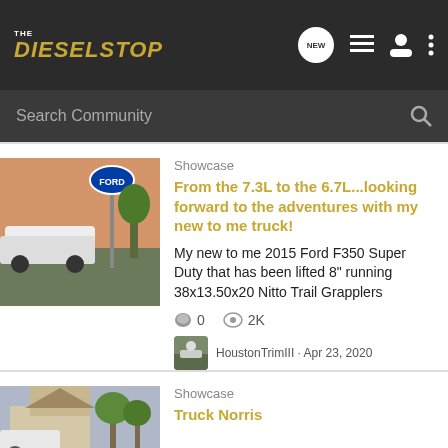THE DIESELSTOP
Search Community
Showcase
From the 7.3L to the 6.7L...looking forward to the adventures with my new to me truck!
My new to me 2015 Ford F350 Super Duty that has been lifted 8" running 38x13.50x20 Nitto Trail Grapplers
0  2K
HoustonTrimIII · Apr 23, 2020
Showcase
Truck Norris